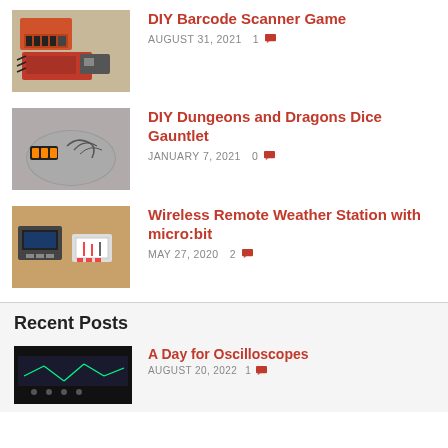DIY Barcode Scanner Game
AUGUST 31, 2021  1 [comment]
[Figure (photo): Photo of DIY barcode scanner electronics with Arduino board and cables]
DIY Dungeons and Dragons Dice Gauntlet
JANUARY 7, 2021  0 [comment]
[Figure (photo): Photo of a wrist/arm with a small LED display attached and dragon-themed drawings]
Wireless Remote Weather Station with micro:bit
MAY 27, 2020  2 [comment]
[Figure (photo): Photo of wireless weather station hardware with micro:bit and alligator clips]
Recent Posts
A Day for Oscilloscopes
AUGUST 20, 2022  1 [comment]
[Figure (photo): Dark photo of oscilloscope screen]